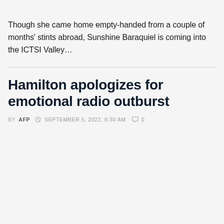Though she came home empty-handed from a couple of months' stints abroad, Sunshine Baraquiel is coming into the ICTSI Valley...
Hamilton apologizes for emotional radio outburst
BY AFP  SEPTEMBER 5, 2022, 8:30 AM  0